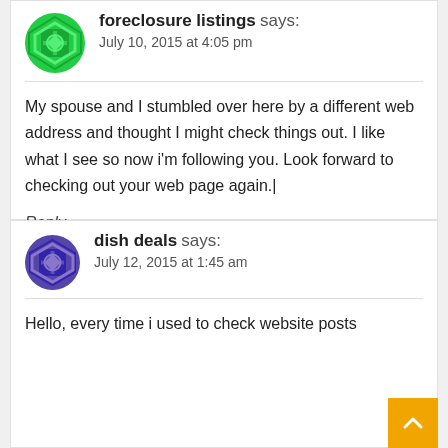foreclosure listings says: July 10, 2015 at 4:05 pm
My spouse and I stumbled over here by a different web address and thought I might check things out. I like what I see so now i'm following you. Look forward to checking out your web page again.|
Reply
dish deals says: July 12, 2015 at 1:45 am
Hello, every time i used to check website posts